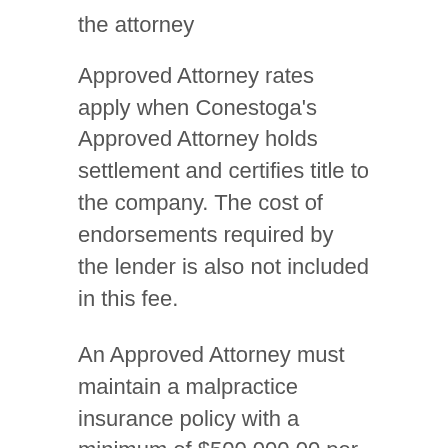the attorney
Approved Attorney rates apply when Conestoga's Approved Attorney holds settlement and certifies title to the company. The cost of endorsements required by the lender is also not included in this fee.
An Approved Attorney must maintain a malpractice insurance policy with a minimum of $500,000.00 per claim.
Join Our Approved Attorney Network
If you're interested in learning more about joining our